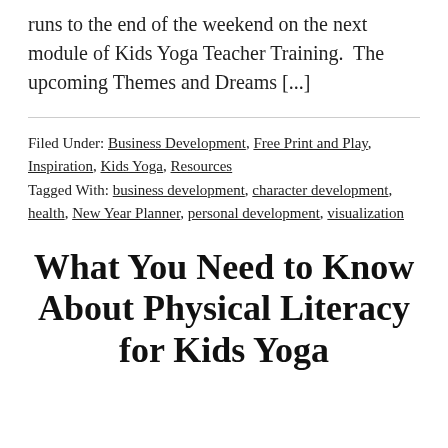runs to the end of the weekend on the next module of Kids Yoga Teacher Training.  The upcoming Themes and Dreams [...]
Filed Under: Business Development, Free Print and Play, Inspiration, Kids Yoga, Resources
Tagged With: business development, character development, health, New Year Planner, personal development, visualization
What You Need to Know About Physical Literacy for Kids Yoga